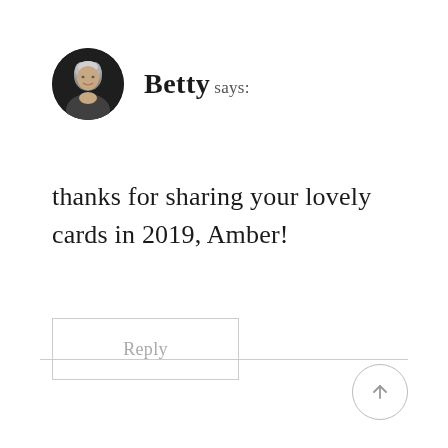[Figure (photo): Circular avatar photo of an elderly woman with white/gray hair, dark background]
Betty says:
thanks for sharing your lovely cards in 2019, Amber!
Reply